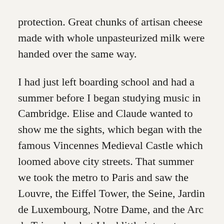protection. Great chunks of artisan cheese made with whole unpasteurized milk were handed over the same way.
I had just left boarding school and had a summer before I began studying music in Cambridge. Elise and Claude wanted to show me the sights, which began with the famous Vincennes Medieval Castle which loomed above city streets. That summer we took the metro to Paris and saw the Louvre, the Eiffel Tower, the Seine, Jardin de Luxembourg, Notre Dame, and the Arc de Triomphe, but I had little interest, because I had been hopelessly seduced by the cooking of Elise. It was all I could think of.